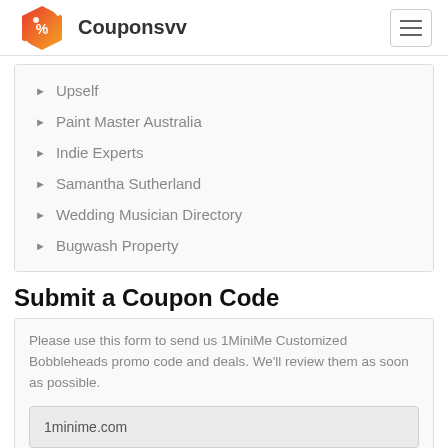Couponsvv
Upself
Paint Master Australia
Indie Experts
Samantha Sutherland
Wedding Musician Directory
Bugwash Property
Submit a Coupon Code
Please use this form to send us 1MiniMe Customized Bobbleheads promo code and deals. We'll review them as soon as possible.
1minime.com
Coupon Code